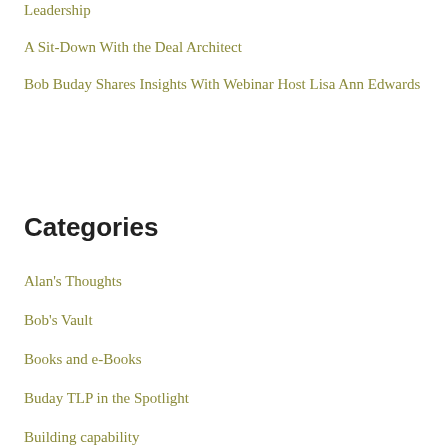Leadership
A Sit-Down With the Deal Architect
Bob Buday Shares Insights With Webinar Host Lisa Ann Edwards
Categories
Alan's Thoughts
Bob's Vault
Books and e-Books
Buday TLP in the Spotlight
Building capability
Client Successes